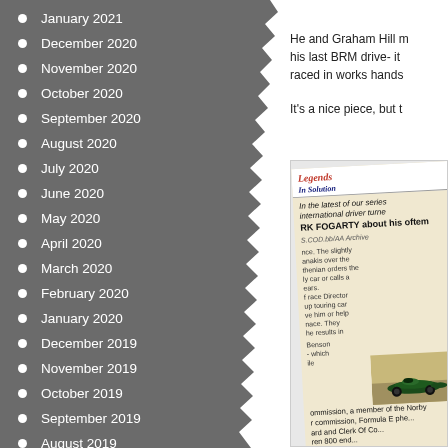January 2021
December 2020
November 2020
October 2020
September 2020
August 2020
July 2020
June 2020
May 2020
April 2020
March 2020
February 2020
January 2020
December 2019
November 2019
October 2019
September 2019
August 2019
July 2019
June 2019
He and Graham Hill made his last BRM drive- it raced in works hands
It's a nice piece, but t
[Figure (photo): A magazine clipping titled 'Legends in Solution' featuring an article about an international driver turned RK FOGARTY, with a photograph of a vintage green racing car and text about race commissions and Formula E.]